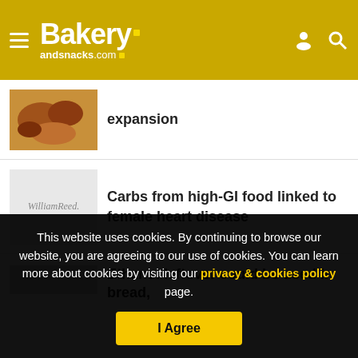Bakery andsnacks.com
expansion
[Figure (photo): Close-up photo of baked goods / pretzels]
Carbs from high-GI food linked to female heart disease
[Figure (logo): WilliamReed. logo on grey background]
Ethanol leftover could be used in bread,
This website uses cookies. By continuing to browse our website, you are agreeing to our use of cookies. You can learn more about cookies by visiting our privacy & cookies policy page.
I Agree